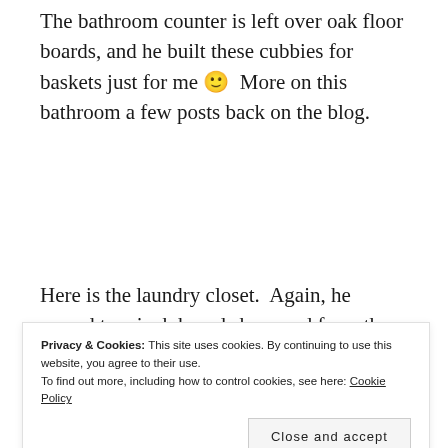The bathroom counter is left over oak floor boards, and he built these cubbies for baskets just for me 🙂  More on this bathroom a few posts back on the blog.
Here is the laundry closet.  Again, he reused two inch boards he saved from the home and built me shelves.  Doug thought of using a galvanized pipe here, and we also used one for the downstairs bathroom shower
Privacy & Cookies: This site uses cookies. By continuing to use this website, you agree to their use.
To find out more, including how to control cookies, see here: Cookie Policy